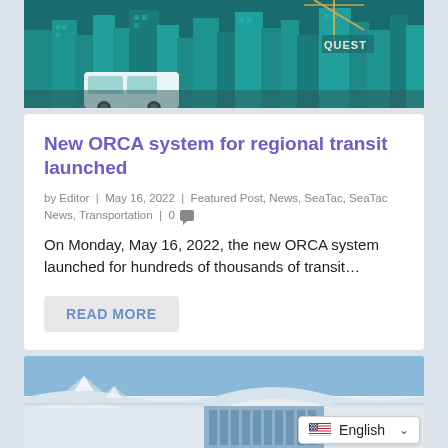[Figure (illustration): Illustrated cityscape with teal/green buildings against a dark teal sky, with a transit vehicle or futuristic bus visible, and text 'QUEST' partially visible]
New ORCA system for regional transit launched
by Editor | May 16, 2022 | Featured Post, News, SeaTac, SeaTac News, Transportation | 0
On Monday, May 16, 2022, the new ORCA system launched for hundreds of thousands of transit...
READ MORE
[Figure (photo): Aerial or ground-level photograph of what appears to be an airport or transit terminal building with a wide flat roof, blue sky, and mountains in the background]
English